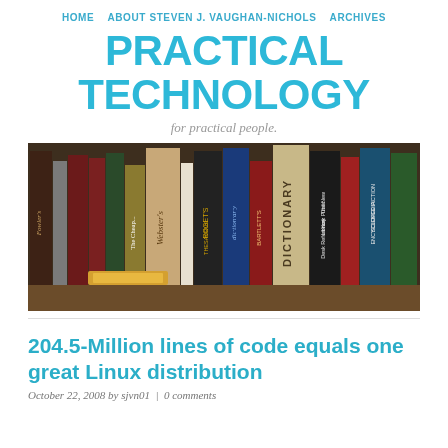HOME   ABOUT STEVEN J. VAUGHAN-NICHOLS   ARCHIVES
PRACTICAL TECHNOLOGY
for practical people.
[Figure (photo): Photograph of a shelf of reference books including Webster's, Roget's Thesaurus, a dictionary, Bartlett's, The New York Public Library Desk Reference, Science Fiction Encyclopedia, and other volumes.]
204.5-Million lines of code equals one great Linux distribution
October 22, 2008 by sjvn01  |  0 comments